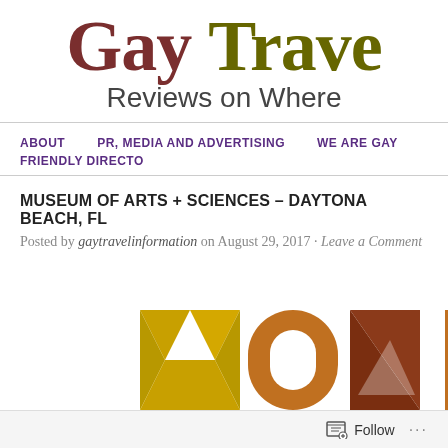Gay Travel Reviews on Where
ABOUT  PR, MEDIA AND ADVERTISING  WE ARE GAY FRIENDLY DIRECTORY
MUSEUM OF ARTS + SCIENCES – DAYTONA BEACH, FL
Posted by gaytravelinformation on August 29, 2017 · Leave a Comment
[Figure (logo): Partial MOAS (Museum of Arts + Sciences) logo with geometric letter shapes in yellow-gold, orange-brown, and dark brown colors]
Follow ...